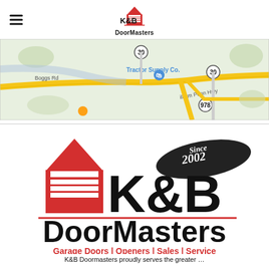K&B DoorMasters
[Figure (map): Google Maps screenshot showing area with Tractor Supply Co., Boggs Rd, William Penn Hwy, route 30, and route 978 visible.]
[Figure (logo): K&B DoorMasters logo with red house/garage door icon, bold K&B text, DoorMasters text, 'Since 2002' brush stroke, and tagline: Garage Doors | Openers | Sales | Service]
K&B Doormasters proudly serves the greater ...